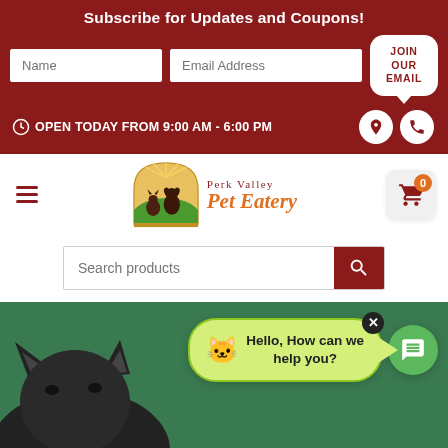Subscribe for Updates and Coupons!
Name | Email Address | JOIN OUR EMAIL
OPEN TODAY FROM 9:00 AM - 6:00 PM
[Figure (logo): Perk Valley Pet Eatery logo with dog and cat silhouettes on green hill with sun rays]
[Figure (screenshot): Search products bar with dark red search button]
[Figure (infographic): Green section with cat photo, chat bubble saying Hello, How can we help you?, and green chat circle button]